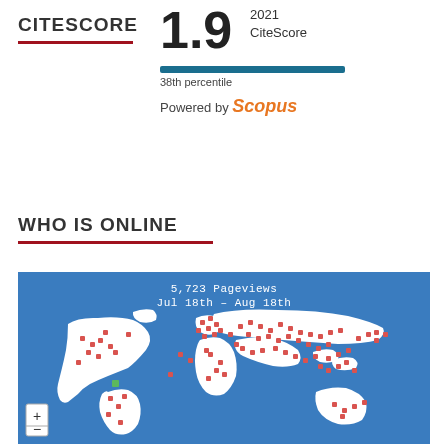1.9
2021
CiteScore
38th percentile
Powered by Scopus
CITESCORE
WHO IS ONLINE
[Figure (map): World map showing 5,723 pageviews from Jul 18th to Aug 18th, with red dot markers distributed across all continents indicating visitor locations. Blue ocean background with white landmasses. Zoom controls (+/-) in bottom left.]